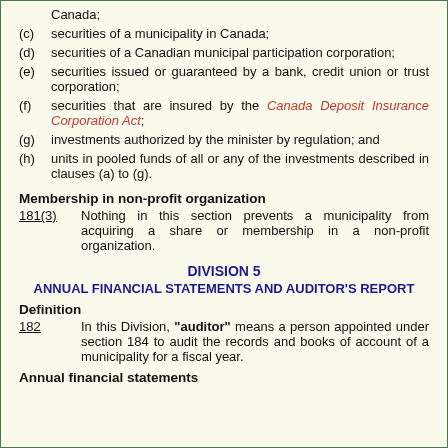Canada;
(c) securities of a municipality in Canada;
(d) securities of a Canadian municipal participation corporation;
(e) securities issued or guaranteed by a bank, credit union or trust corporation;
(f) securities that are insured by the Canada Deposit Insurance Corporation Act;
(g) investments authorized by the minister by regulation; and
(h) units in pooled funds of all or any of the investments described in clauses (a) to (g).
Membership in non-profit organization
181(3)   Nothing in this section prevents a municipality from acquiring a share or membership in a non-profit organization.
DIVISION 5
ANNUAL FINANCIAL STATEMENTS AND AUDITOR'S REPORT
Definition
182   In this Division, "auditor" means a person appointed under section 184 to audit the records and books of account of a municipality for a fiscal year.
Annual financial statements